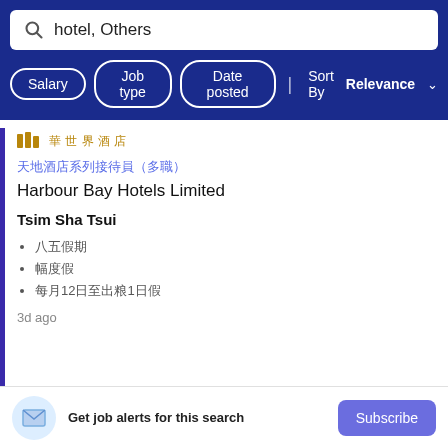hotel, Others
Salary
Job type
Date posted
Sort By Relevance
[Figure (logo): Company logo with Chinese characters]
液酒館系列接待員（多職）
Harbour Bay Hotels Limited
Tsim Sha Tsui
八五假期
幅度假
每月12日至出粮1日假
3d ago
Get job alerts for this search
Subscribe